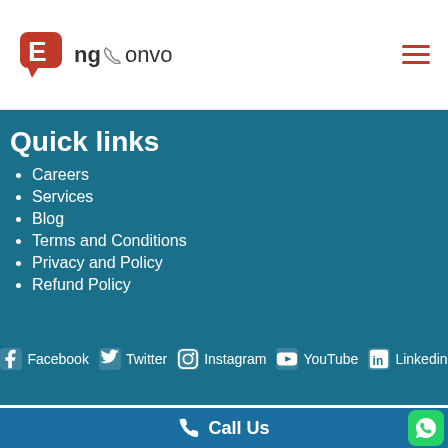EngConvo logo and hamburger menu
Quick links
Careers
Services
Blog
Terms and Conditions
Privacy and Policy
Refund Policy
Facebook  Twitter  Instagram  YouTube  Linkedin
Call Us